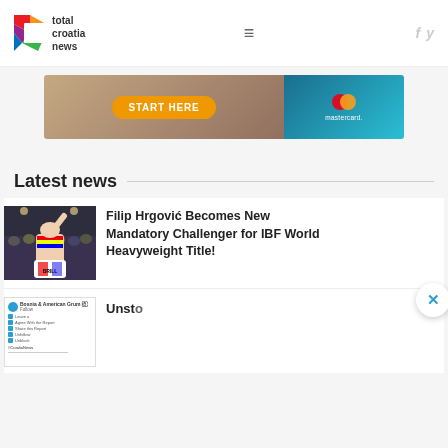total croatia news
[Figure (photo): Advertisement banner with START HERE button and Mastercard logo]
Latest news
[Figure (photo): Boxer with Croatian flag raised in arena crowd]
Filip Hrgović Becomes New Mandatory Challenger for IBF World Heavyweight Title!
[Figure (screenshot): Social media post screenshot]
Unsto